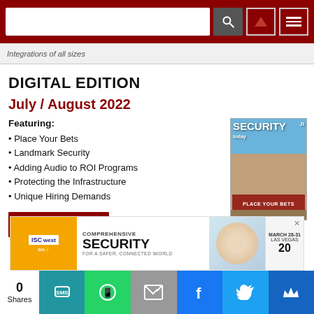Navigation bar with search input and menu icons
Integrations of all sizes
DIGITAL EDITION
July / August 2022
Featuring:
Place Your Bets
Landmark Security
Adding Audio to ROI Programs
Protecting the Infrastructure
Unique Hiring Demands
View This Issue
[Figure (photo): Security Today magazine cover, July/August 2022, showing a European building (Monaco casino) with the headline PLACE YOUR BETS]
[Figure (photo): ISC West advertisement banner showing Comprehensive Security for a Safer, Connected World]
0 Shares | Social sharing buttons: SMS, WhatsApp, Email, Facebook, Twitter, Crown